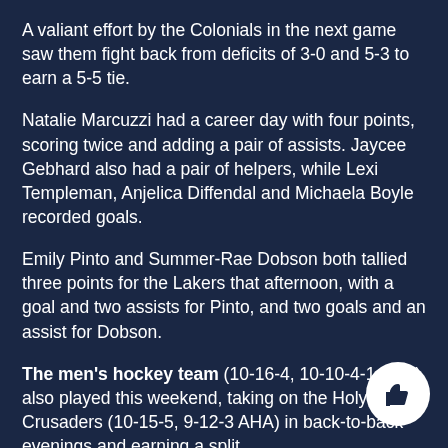A valiant effort by the Colonials in the next game saw them fight back from deficits of 3-0 and 5-3 to earn a 5-5 tie.
Natalie Marcuzzi had a career day with four points, scoring twice and adding a pair of assists. Jaycee Gebhard also had a pair of helpers, while Lexi Templeman, Anjelica Diffendal and Michaela Boyle recorded goals.
Emily Pinto and Summer-Rae Dobson both tallied three points for the Lakers that afternoon, with a goal and two assists for Pinto, and two goals and an assist for Dobson.
The men's hockey team (10-16-4, 10-10-4-1 AHA) also played this weekend, taking on the Holy Cross Crusaders (10-15-5, 9-12-3 AHA) in back-to-back evenings and earning a split.
They had an impressive comeback attempt of their own in the first game, but they could not complete their crusade, losing 5-3 after being down 4-0 in the second period. Jus… Addamo and Jacob Coleman each had a goal and an assist…